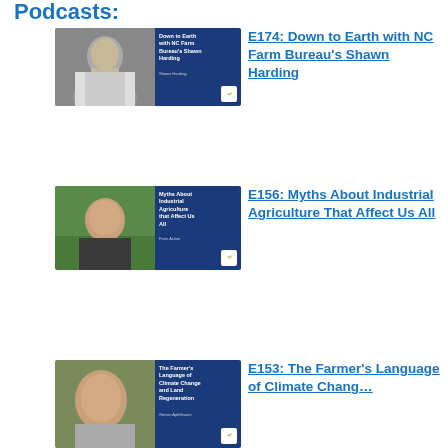Podcasts:
[Figure (photo): Podcast thumbnail for E174: Down to Earth with NC Farm Bureau's Shawn Harding — photo of a middle-aged man with glasses and grey hair, alongside a dark blue panel with the episode title]
E174: Down to Earth with NC Farm Bureau's Shawn Harding
[Figure (photo): Podcast thumbnail for E156: Myths About Industrial Agriculture that Affect Us All — photo of a young woman with dark hair outdoors, alongside a dark blue panel with the episode title]
E156: Myths About Industrial Agriculture That Affect Us All
[Figure (photo): Podcast thumbnail for E153: The Farmer's Language of Climate Change and Land Regeneration — photo of an older man smiling, alongside a dark blue panel with the episode title]
E153: The Farmer's Language of Climate Change